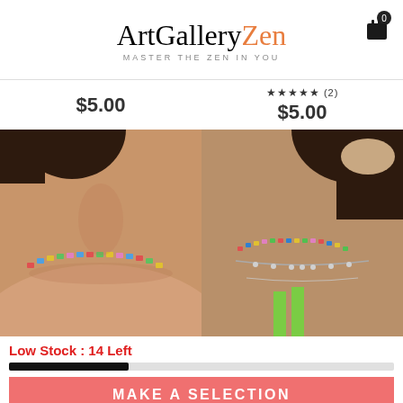ArtGalleryZen — MASTER THE ZEN IN YOU
$5.00
★★★★★ (2) $5.00
[Figure (photo): Woman wearing colorful beaded choker necklace, close-up of neck and shoulders]
[Figure (photo): Woman wearing layered colorful beaded necklaces, close-up of neck area with green top]
Low Stock : 14 Left
MAKE A SELECTION
BUY IT NOW